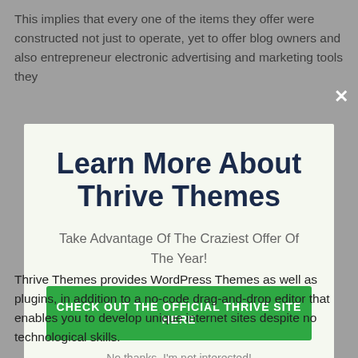This implies that every one of the items they offer were constructed not just to operate, yet to offer blog owners and also entrepreneur electronic advertising and marketing tools they
[Figure (screenshot): Modal popup overlay with light green background. Contains a large bold dark navy headline 'Learn More About Thrive Themes', a subtitle 'Take Advantage Of The Craziest Offer Of The Year!', a green call-to-action button 'CHECK OUT THE OFFICIAL THRIVE SITE HERE', and a dismiss link 'No thanks, I'm not interested!'. A white X close button appears at the top right of the overlay.]
Thrive Themes provides WordPress Themes as well as plugins, in addition to a no-code drag-and-drop editor that enables you to develop unique internet sites despite no technological skills.